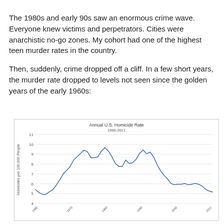The 1980s and early 90s saw an enormous crime wave. Everyone knew victims and perpetrators. Cities were anarchistic no-go zones. My cohort had one of the highest teen murder rates in the country.
Then, suddenly, crime dropped off a cliff. In a few short years, the murder rate dropped to levels not seen since the golden years of the early 1960s:
[Figure (line-chart): Annual U.S. Homicide Rate 1960-2011]